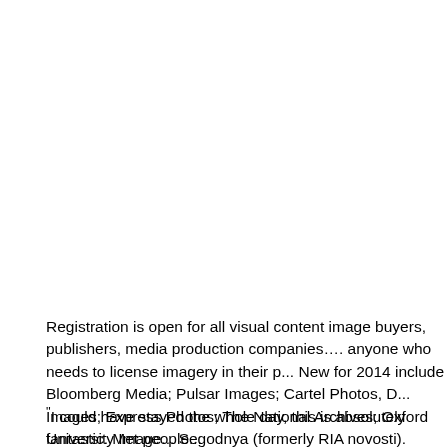Registration is open for all visual content image buyers, publishers, media production companies…. anyone who needs to license imagery in their p... New for 2014 include Bloomberg Media; Pulsar Images; Cartel Photos, D... Images; Express Photos; The National Archives; Oxford University Image... Segodnya (formerly RIA novosti).
"I could have stayed the whole day, this is absolutely fantastic. Met people...